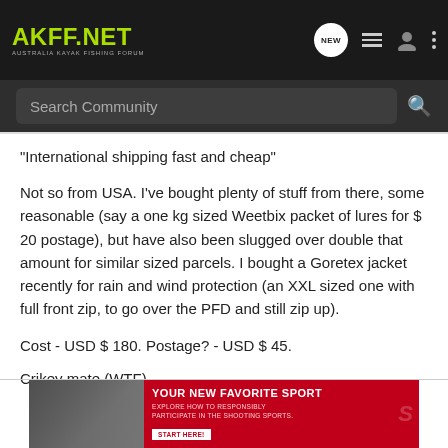AKFF.NET — AUSTRALIA KAYAK FISHING FORUM
"International shipping fast and cheap"
Not so from USA. I've bought plenty of stuff from there, some reasonable (say a one kg sized Weetbix packet of lures for $ 20 postage), but have also been slugged over double that amount for similar sized parcels. I bought a Goretex jacket recently for rain and wind protection (an XXL sized one with full front zip, to go over the PFD and still zip up).
Cost - USD $ 180. Postage? - USD $ 45.
Crikey mate (WTF)
[Figure (screenshot): Advertisement banner: YOUR NEW FAVORITE SPORT — EXPLORE HOW TO RESPONSIBLY PARTICIPATE IN THE SHOOTING SPORTS. START HERE!]